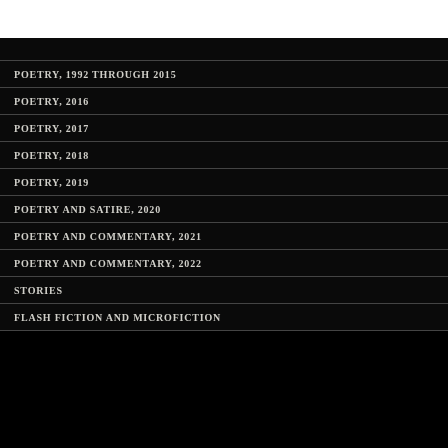POETRY, 1992 THROUGH 2015
POETRY, 2016
POETRY, 2017
POETRY, 2018
POETRY, 2019
POETRY AND SATIRE, 2020
POETRY AND COMMENTARY, 2021
POETRY AND COMMENTARY, 2022
STORIES
FLASH FICTION AND MICROFICTION